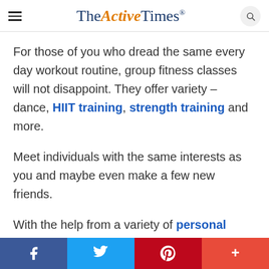TheActiveTimes
For those of you who dread the same every day workout routine, group fitness classes will not disappoint. They offer variety – dance, HIIT training, strength training and more.
Meet individuals with the same interests as you and maybe even make a few new friends.
With the help from a variety of personal
Social share bar: Facebook, Twitter, Pinterest, More